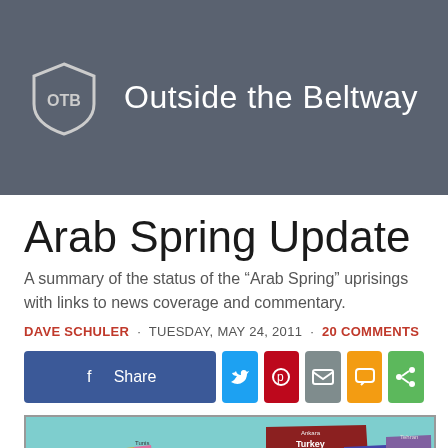Outside the Beltway
Arab Spring Update
A summary of the status of the “Arab Spring” uprisings with links to news coverage and commentary.
DAVE SCHULER · TUESDAY, MAY 24, 2011 · 20 COMMENTS
[Figure (map): Map of the Middle East and North Africa region showing countries including Morocco, Algeria, Libya, Egypt, Tunisia, Turkey, Syria, Iraq, Iran, and others, color-coded by region/political status relevant to Arab Spring uprisings.]